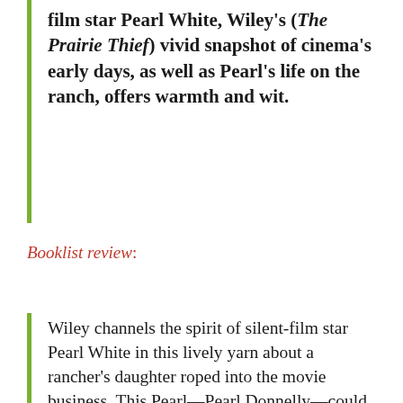film star Pearl White, Wiley's (The Prairie Thief) vivid snapshot of cinema's early days, as well as Pearl's life on the ranch, offers warmth and wit.
Booklist review:
Wiley channels the spirit of silent-film star Pearl White in this lively yarn about a rancher's daughter roped into the movie business. This Pearl—Pearl Donnelly—could ride a horse before she could run, and she wouldn't have it any other way. She loves living on her family's ranch in Lemon Springs, California, though she wouldn't mind if someone else had to tend their ornery ostriches. But that was before Mr. Corrigan came to town to film moving